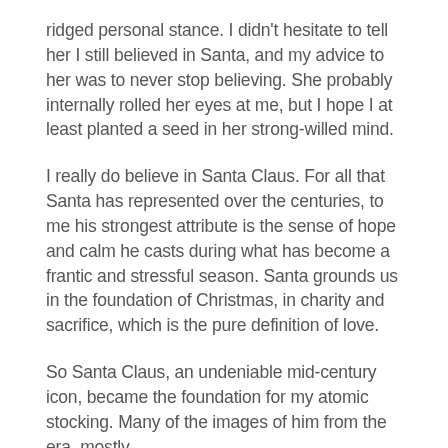ridged personal stance. I didn't hesitate to tell her I still believed in Santa, and my advice to her was to never stop believing. She probably internally rolled her eyes at me, but I hope I at least planted a seed in her strong-willed mind.
I really do believe in Santa Claus. For all that Santa has represented over the centuries, to me his strongest attribute is the sense of hope and calm he casts during what has become a frantic and stressful season. Santa grounds us in the foundation of Christmas, in charity and sacrifice, which is the pure definition of love.
So Santa Claus, an undeniable mid-century icon, became the foundation for my atomic stocking. Many of the images of him from the era, mostly